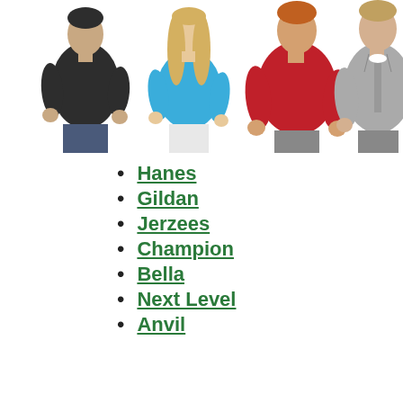[Figure (photo): Four people modeling clothing: man in dark grey t-shirt, woman in blue t-shirt, man in red crewneck sweatshirt, man in grey zip-up hoodie]
Hanes
Gildan
Jerzees
Champion
Bella
Next Level
Anvil